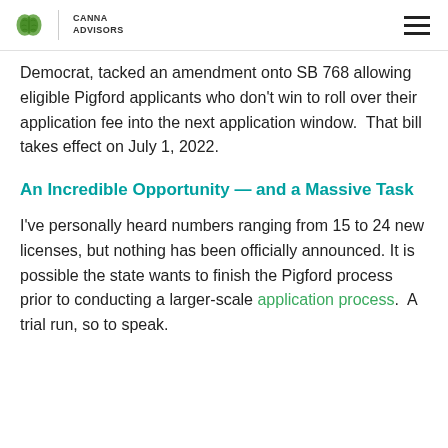CANNA ADVISORS
Democrat, tacked an amendment onto SB 768 allowing eligible Pigford applicants who don't win to roll over their application fee into the next application window.  That bill takes effect on July 1, 2022.
An Incredible Opportunity — and a Massive Task
I've personally heard numbers ranging from 15 to 24 new licenses, but nothing has been officially announced. It is possible the state wants to finish the Pigford process prior to conducting a larger-scale application process.  A trial run, so to speak.